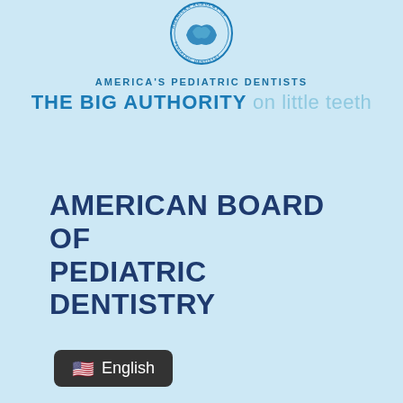[Figure (logo): American Academy of Pediatric Dentistry circular logo at top center]
AMERICA'S PEDIATRIC DENTISTS THE BIG AUTHORITY on little teeth
AMERICAN BOARD OF PEDIATRIC DENTISTRY
[Figure (other): English language selector button with US flag emoji]